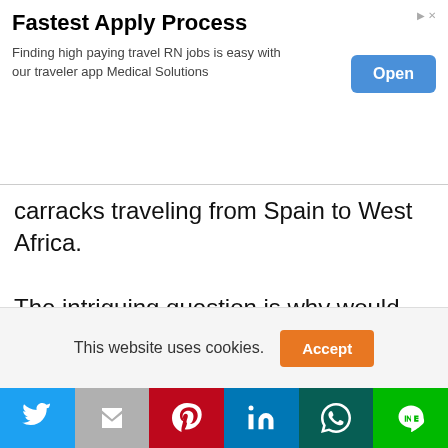[Figure (other): Advertisement banner: 'Fastest Apply Process' — Finding high paying travel RN jobs is easy with our traveler app Medical Solutions. Blue 'Open' button on the right.]
carracks traveling from Spain to West Africa.
The intriguing question is why would Spain permit the landing of 500 thousand Africans at the same time that Spanish Christians and their royalty were asking 150 thousand Jews to leave Spain? As of then, the black Muslim population of Spain was up to a million and the Caribbean Island was not
This website uses cookies.
[Figure (other): Social sharing bar with buttons: Twitter (blue), Gmail (gray), Pinterest (red), LinkedIn (blue), WhatsApp (dark green), Line (green)]